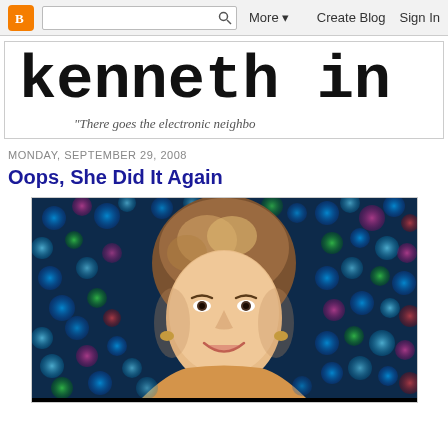Blogger navigation bar with logo, search, More, Create Blog, Sign In
kenneth in
“There goes the electronic neighbo
MONDAY, SEPTEMBER 29, 2008
Oops, She Did It Again
[Figure (photo): Close-up photo of a smiling woman with short blonde-brown hair against a colorful bokeh background of multicolored circles (blue, green, pink, red)]